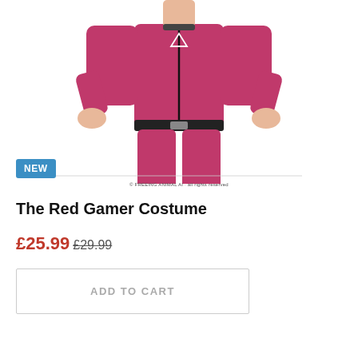[Figure (photo): A person wearing a pink/red full-body jumpsuit costume with a black belt and a triangle symbol on the chest, hands on hips, with a 'NEW' badge overlay in the lower left corner of the image. A copyright line appears below the image.]
The Red Gamer Costume
£25.99 £29.99
ADD TO CART